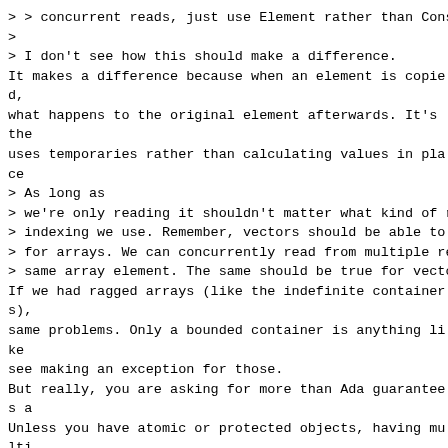> > concurrent reads, just use Element rather than Consta
>
> I don't see how this should make a difference.
It makes a difference because when an element is copied,
what happens to the original element afterwards. It's the
uses temporaries rather than calculating values in place
> As long as
> we're only reading it shouldn't matter what kind of ret
> indexing we use. Remember, vectors should be able to be
> for arrays. We can concurrently read from multiple refe
> same array element. The same should be true for vectors
If we had ragged arrays (like the indefinite containers),
same problems. Only a bounded container is anything like
see making an exception for those.
But really, you are asking for more than Ada guarantees a
Unless you have atomic or protected objects, having multi
call!) anything is always risky. That's a flaw in Ada, b
hopes that the parallel subgroup will come up with some p
that.
You can get away with multiple access to an array so long
disjoint. But that works simply because there is no contr
with it; if there is, as in the case of the containers, a
problematical.
> > Of course, Ada does not guarantee concurrent reads in